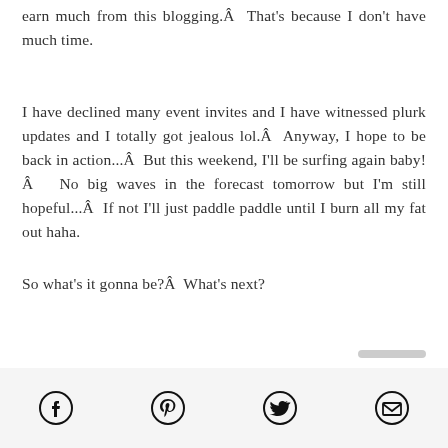earn much from this blogging.Â  That's because I don't have much time.
I have declined many event invites and I have witnessed plurk updates and I totally got jealous lol.Â  Anyway, I hope to be back in action...Â  But this weekend, I'll be surfing again baby!Â   No big waves in the forecast tomorrow but I'm still hopeful...Â  If not I'll just paddle paddle until I burn all my fat out haha.
So what's it gonna be?Â  What's next?
[Figure (infographic): Footer bar with social share icons: Facebook, Pinterest, Twitter, Email]